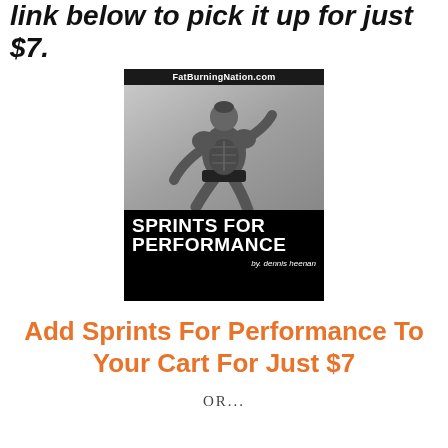link below to pick it up for just $7.
[Figure (photo): Book cover for 'Sprints For Performance' by Dennis Heenan, published on FatBurningNation.com. Black and white photo of a muscular athlete sprinting. Black background with large white bold text 'SPRINTS FOR PERFORMANCE' and author credit 'by. dennis heenan'.]
Add Sprints For Performance To Your Cart For Just $7
OR...